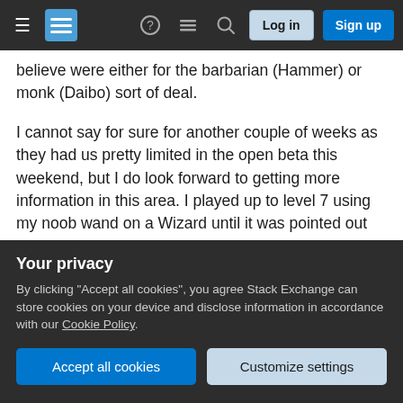Stack Exchange navigation bar with hamburger menu, logo, help, chat, search icons, Log in and Sign up buttons
believe were either for the barbarian (Hammer) or monk (Daibo) sort of deal.

I cannot say for sure for another couple of weeks as they had us pretty limited in the open beta this weekend, but I do look forward to getting more information in this area. I played up to level 7 using my noob wand on a Wizard until it was pointed out that I can use just about any weapon and my skills will still work. NOTE: This did not work for the Demon Hunter actually. Using a melee weapon stopped most 'shooting' base skills from working
Your privacy

By clicking "Accept all cookies", you agree Stack Exchange can store cookies on your device and disclose information in accordance with our Cookie Policy.
Accept all cookies | Customize settings
James